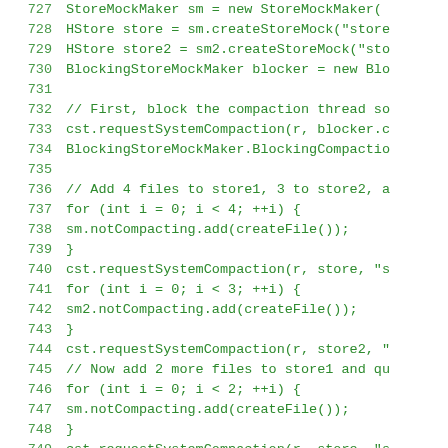[Figure (screenshot): Source code listing lines 727-755 showing Java/C++ style code with green monospace font on white background. Code involves StoreMockMaker, HStore, BlockingStoreMockMaker, compaction operations with for loops and requestSystemCompaction calls.]